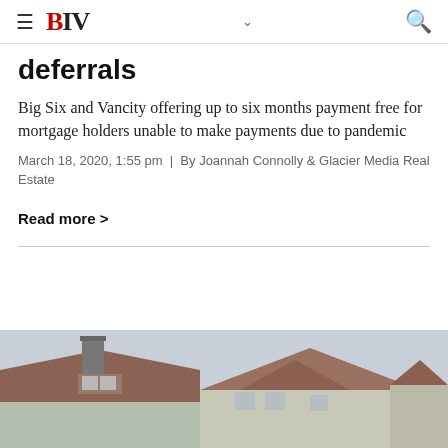BIV
deferrals
Big Six and Vancity offering up to six months payment free for mortgage holders unable to make payments due to pandemic
March 18, 2020, 1:55 pm | By Joannah Connolly & Glacier Media Real Estate
Read more >
[Figure (photo): Photo of a residential house rooftop with chimney, showing craftsman-style architecture, taken from a low angle]